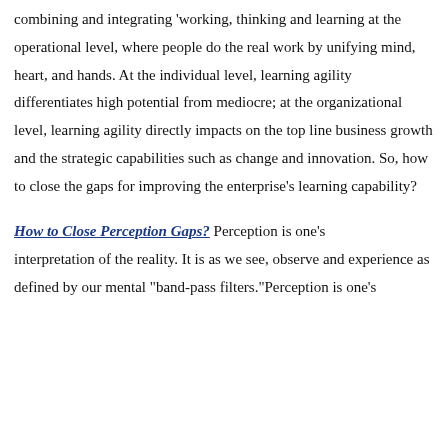combining and integrating 'working, thinking and learning at the operational level, where people do the real work by unifying mind, heart, and hands. At the individual level, learning agility differentiates high potential from mediocre; at the organizational level, learning agility directly impacts on the top line business growth and the strategic capabilities such as change and innovation. So, how to close the gaps for improving the enterprise's learning capability?
How to Close Perception Gaps?
Perception is one's interpretation of the reality. It is as we see, observe and experience as defined by our mental "band-pass filters."Perception is one's